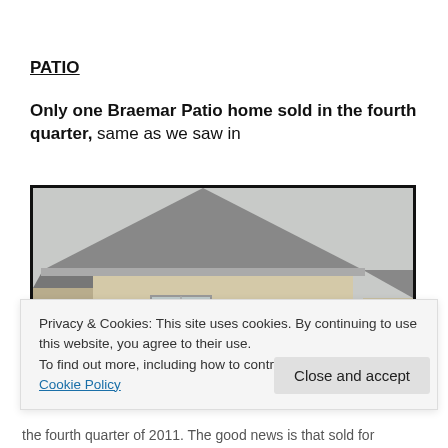PATIO
Only one Braemar Patio home sold in the fourth quarter, same as we saw in
[Figure (photo): Exterior photo of a two-story Braemar Patio home with beige/tan siding, peaked roof, oval decorative window, and multiple rectangular windows, photographed on an overcast day.]
Privacy & Cookies: This site uses cookies. By continuing to use this website, you agree to their use.
To find out more, including how to control cookies, see here: Cookie Policy
Close and accept
the fourth quarter of 2011. The good news is that sold for